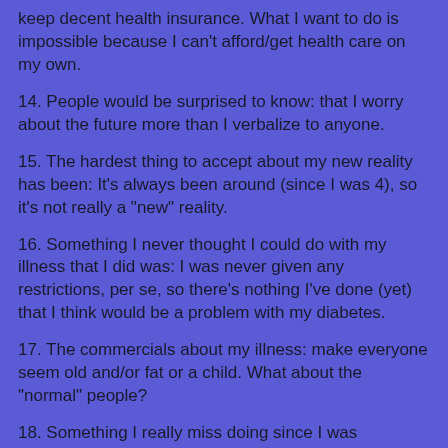keep decent health insurance. What I want to do is impossible because I can't afford/get health care on my own.
14. People would be surprised to know: that I worry about the future more than I verbalize to anyone.
15. The hardest thing to accept about my new reality has been: It's always been around (since I was 4), so it's not really a "new" reality.
16. Something I never thought I could do with my illness that I did was: I was never given any restrictions, per se, so there's nothing I've done (yet) that I think would be a problem with my diabetes.
17. The commercials about my illness: make everyone seem old and/or fat or a child. What about the "normal" people?
18. Something I really miss doing since I was diagnosed is: I don't remember much pre-diabetes....but I would say that I would love to be able to have a meal without calculating carbs.